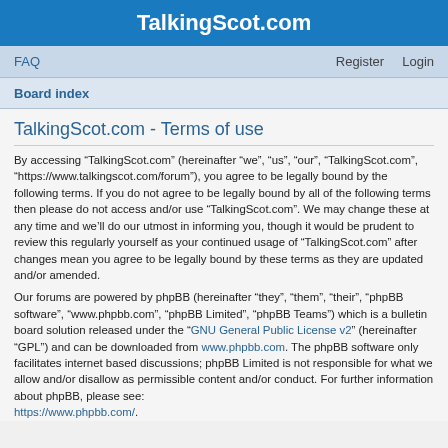TalkingScot.com
FAQ    Register    Login
Board index
TalkingScot.com - Terms of use
By accessing “TalkingScot.com” (hereinafter “we”, “us”, “our”, “TalkingScot.com”, “https://www.talkingscot.com/forum”), you agree to be legally bound by the following terms. If you do not agree to be legally bound by all of the following terms then please do not access and/or use “TalkingScot.com”. We may change these at any time and we’ll do our utmost in informing you, though it would be prudent to review this regularly yourself as your continued usage of “TalkingScot.com” after changes mean you agree to be legally bound by these terms as they are updated and/or amended.
Our forums are powered by phpBB (hereinafter “they”, “them”, “their”, “phpBB software”, “www.phpbb.com”, “phpBB Limited”, “phpBB Teams”) which is a bulletin board solution released under the “GNU General Public License v2” (hereinafter “GPL”) and can be downloaded from www.phpbb.com. The phpBB software only facilitates internet based discussions; phpBB Limited is not responsible for what we allow and/or disallow as permissible content and/or conduct. For further information about phpBB, please see: https://www.phpbb.com/.